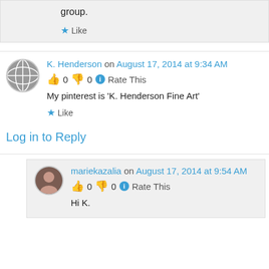group.
★ Like
K. Henderson on August 17, 2014 at 9:34 AM
👍 0 👎 0 ℹ Rate This
My pinterest is 'K. Henderson Fine Art'
★ Like
Log in to Reply
mariekazalia on August 17, 2014 at 9:54 AM
👍 0 👎 0 ℹ Rate This
Hi K.